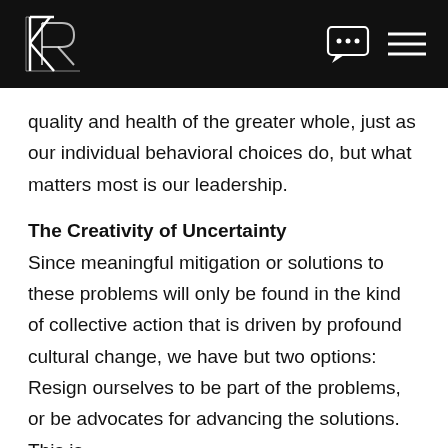KR logo with chat and menu icons
quality and health of the greater whole, just as our individual behavioral choices do, but what matters most is our leadership.
The Creativity of Uncertainty
Since meaningful mitigation or solutions to these problems will only be found in the kind of collective action that is driven by profound cultural change, we have but two options: Resign ourselves to be part of the problems, or be advocates for advancing the solutions. This is